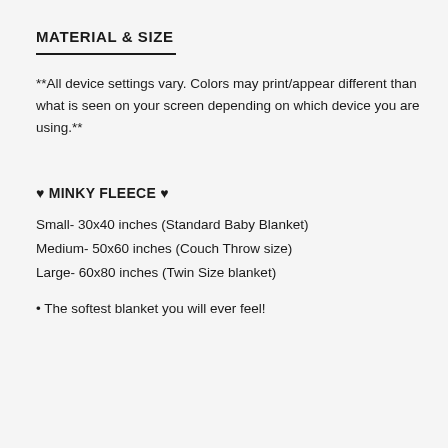MATERIAL & SIZE
**All device settings vary. Colors may print/appear different than what is seen on your screen depending on which device you are using.**
♥ MINKY FLEECE ♥
Small- 30x40 inches (Standard Baby Blanket)
Medium- 50x60 inches (Couch Throw size)
Large- 60x80 inches (Twin Size blanket)
• The softest blanket you will ever feel!